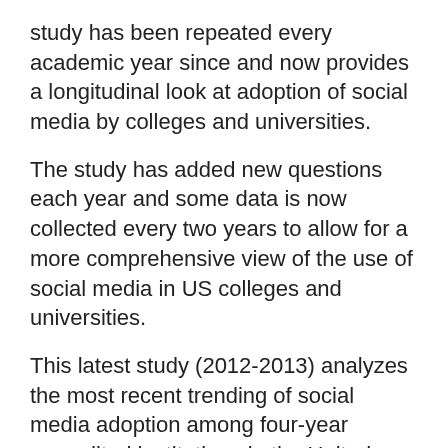study has been repeated every academic year since and now provides a longitudinal look at adoption of social media by colleges and universities.
The study has added new questions each year and some data is now collected every two years to allow for a more comprehensive view of the use of social media in US colleges and universities.
This latest study (2012-2013) analyzes the most recent trending of social media adoption among four-year accredited institutions in the United States. As in all previous studies, the colleges and universities were identified using a directory compiled by the University of Texas. Under the direction of researchers Nora Ganim Barnes and Ava Lescault, interviews took place from February to May of 2013 with those who managed the social media efforts at these institutions.
A proportional sample of schools in all 50 states was